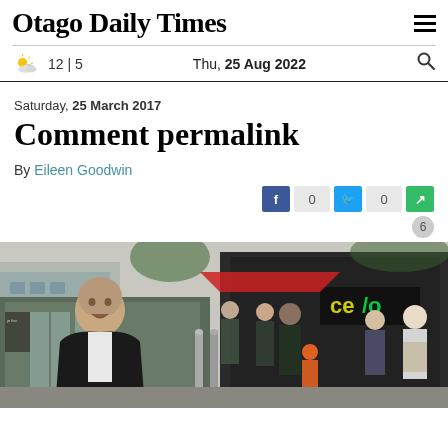Otago Daily Times
12 | 5   Thu, 25 Aug 2022
Saturday, 25 March 2017
Comment permalink
By Eileen Goodwin
[Figure (photo): Group of people gathered outside a commercial building with a bald man in a dark suit speaking in the foreground, a cero branded sign visible in the background, pipes and urban street scene.]